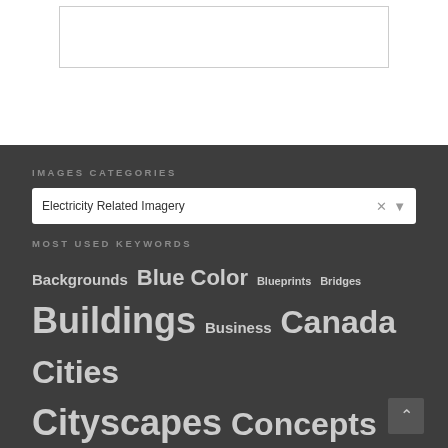[Figure (screenshot): White search/input box partially visible at top of page]
IMAGES CATEGORIES
[Figure (screenshot): Dropdown select box showing 'Electricity Related Imagery' with clear (×) and expand (▾) controls]
MOST USED KEYWORDS
Backgrounds Blue Color Blueprints Bridges Buildings Business Canada Cities Cityscapes Concepts Condos Construction